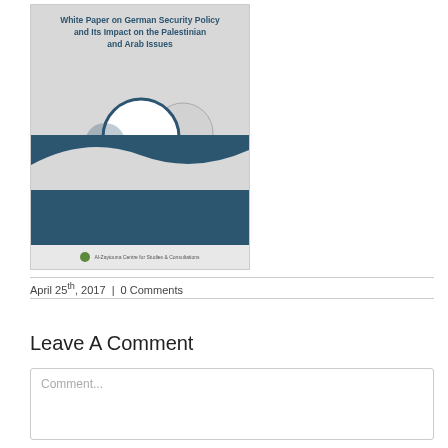[Figure (illustration): Book cover for 'White Paper on German Security Policy and Its Impact on the Palestinian and Arab Issues' by Prof. Dr. Walid 'Abd al-Hay, published by Al-Zaytouna Centre for Studies & Consultations. Cover has light gray top section with title, decorative overlapping circles, dark teal wave design on bottom half, and a footer strip with the publisher logo.]
April 25th, 2017  |  0 Comments
Leave A Comment
Comment...